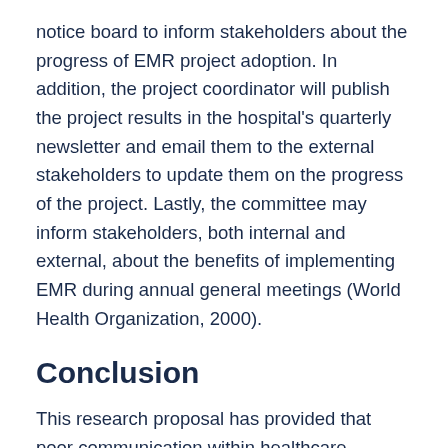notice board to inform stakeholders about the progress of EMR project adoption. In addition, the project coordinator will publish the project results in the hospital's quarterly newsletter and email them to the external stakeholders to update them on the progress of the project. Lastly, the committee may inform stakeholders, both internal and external, about the benefits of implementing EMR during annual general meetings (World Health Organization, 2000).
Conclusion
This research proposal has provided that poor communication within healthcare facilities results in medication errors, which threaten patient care and safety. However, it has been proposed that successful implementation of EMR can improve communication between healthcare professionals as well as reduce the incidences of medication errors. Implementation of an